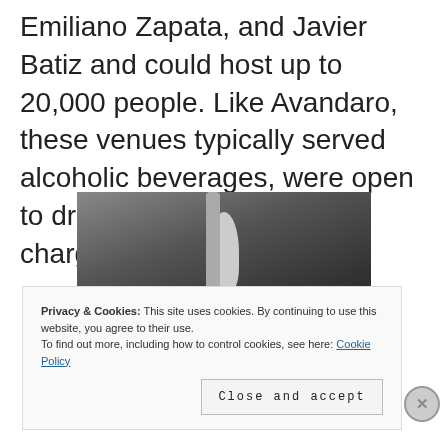Emiliano Zapata, and Javier Batiz and could host up to 20,000 people. Like Avandaro, these venues typically served alcoholic beverages, were open to drug use and informally charged entry.
[Figure (photo): Black and white photograph of a performer on stage, appearing to play guitar or hold a pole-like instrument, with a crowd visible in the background.]
Privacy & Cookies: This site uses cookies. By continuing to use this website, you agree to their use.
To find out more, including how to control cookies, see here: Cookie Policy